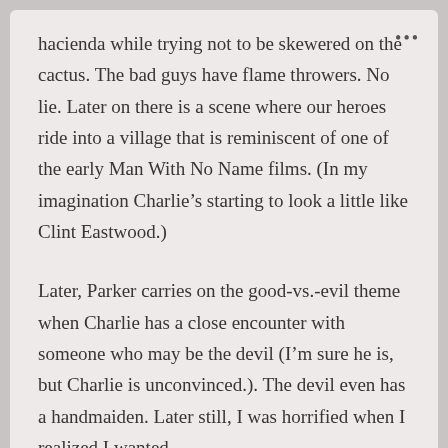hacienda while trying not to be skewered on the cactus. The bad guys have flame throwers. No lie. Later on there is a scene where our heroes ride into a village that is reminiscent of one of the early Man With No Name films. (In my imagination Charlie’s starting to look a little like Clint Eastwood.)
Later, Parker carries on the good-vs.-evil theme when Charlie has a close encounter with someone who may be the devil (I’m sure he is, but Charlie is unconvinced.). The devil even has a handmaiden. Later still, I was horrified when I realized I wanted